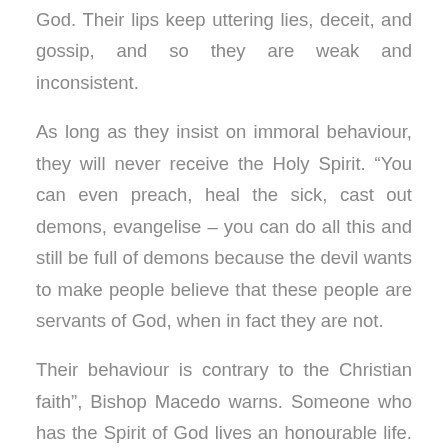God. Their lips keep uttering lies, deceit, and gossip, and so they are weak and inconsistent.
As long as they insist on immoral behaviour, they will never receive the Holy Spirit. “You can even preach, heal the sick, cast out demons, evangelise – you can do all this and still be full of demons because the devil wants to make people believe that these people are servants of God, when in fact they are not.
Their behaviour is contrary to the Christian faith”, Bishop Macedo warns. Someone who has the Spirit of God lives an honourable life. They have nothing to